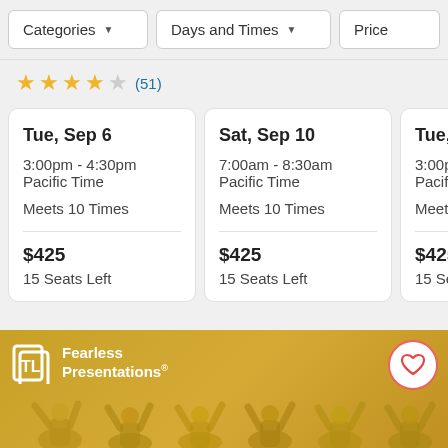Categories | Days and Times | Price
★★★★☆ (51)
| Date | Time | Meets | Price | Seats |
| --- | --- | --- | --- | --- |
| Tue, Sep 6 | 3:00pm - 4:30pm Pacific Time | Meets 10 Times | $425 | 15 Seats Left |
| Sat, Sep 10 | 7:00am - 8:30am Pacific Time | Meets 10 Times | $425 | 15 Seats Left |
| Tue, Sep… | 3:00pm - … Pacific Ti… | Meets 10… | $425 | 15 Seats L… |
[Figure (logo): Fearless Presentations logo on gold/yellow banner with people raising hands in background and a heart/favorite button]